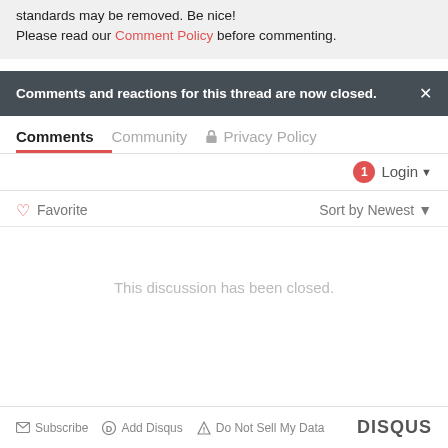standards may be removed. Be nice! Please read our Comment Policy before commenting.
Comments and reactions for this thread are now closed.
Comments | Community | Privacy Policy
Login
Favorite | Sort by Newest
This discussion has been closed.
Subscribe | Add Disqus | Do Not Sell My Data | DISQUS